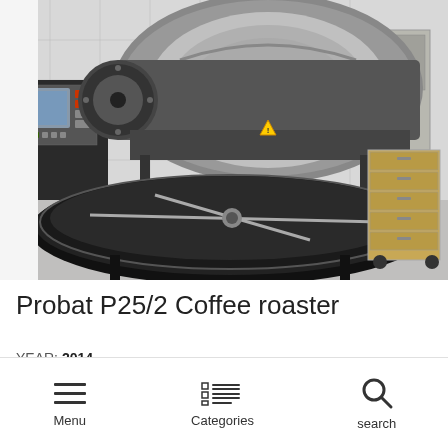[Figure (photo): Industrial coffee roasting machine (Probat P25/2) in a facility. Shows large black drum roaster with cooling tray in foreground, control panel on left, tool cabinet on right, white tiled walls in background.]
Probat P25/2 Coffee roaster
YEAR: 2014
Capacity  25 kg
Menu  Categories  search